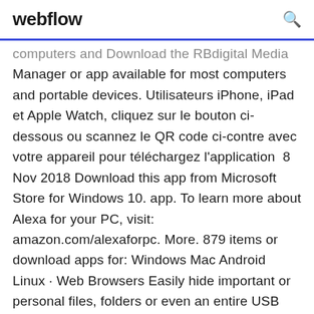webflow
computers and Download the RBdigital Media Manager or app available for most computers and portable devices. Utilisateurs iPhone, iPad et Apple Watch, cliquez sur le bouton ci-dessous ou scannez le QR code ci-contre avec votre appareil pour téléchargez l'application  8 Nov 2018 Download this app from Microsoft Store for Windows 10. app. To learn more about Alexa for your PC, visit: amazon.com/alexaforpc. More. 879 items or download apps for: Windows Mac Android Linux · Web Browsers Easily hide important or personal files, folders or even an entire USB Drive with